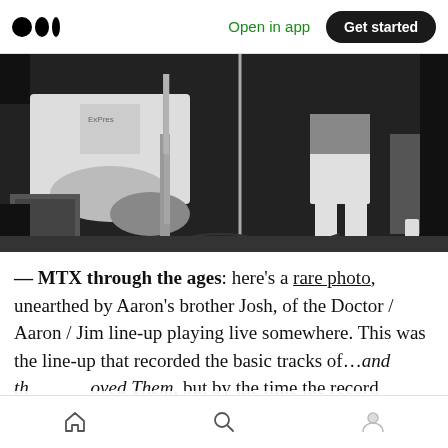Medium app header — Open in app | Get started
[Figure (photo): Black and white photo of musicians playing guitars on stage, one wearing a white t-shirt playing an electric guitar, another figure visible in the background with cables on the floor]
— MTX through the ages: here's a rare photo, unearthed by Aaron's brother Josh, of the Doctor / Aaron / Jim line-up playing live somewhere. This was the line-up that recorded the basic tracks of…and th …oved Them, but by the time the record actually came out Aaron
Home | Search | Profile